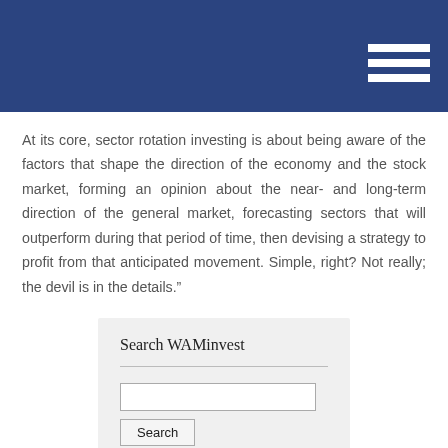At its core, sector rotation investing is about being aware of the factors that shape the direction of the economy and the stock market, forming an opinion about the near- and long-term direction of the general market, forecasting sectors that will outperform during that period of time, then devising a strategy to profit from that anticipated movement. Simple, right? Not really; the devil is in the details."
Search WAMinvest